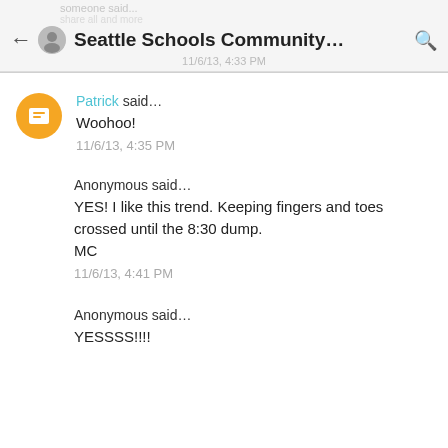Seattle Schools Community…
Patrick said… Woohoo! 11/6/13, 4:35 PM
Anonymous said… YES! I like this trend. Keeping fingers and toes crossed until the 8:30 dump. MC 11/6/13, 4:41 PM
Anonymous said… YESSSS!!!!